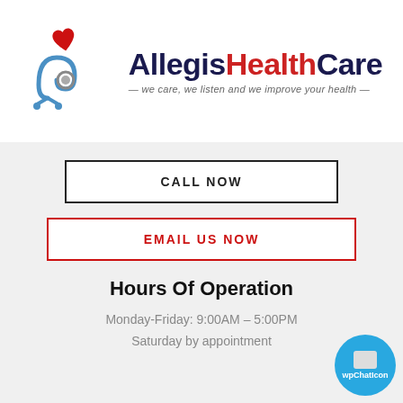[Figure (logo): Allegis HealthCare logo with stethoscope and red heart, tagline: we care, we listen and we improve your health]
CALL NOW
EMAIL US NOW
Hours Of Operation
Monday-Friday: 9:00AM - 5:00PM
Saturday by appointment
[Figure (illustration): wpChatIcon blue circle chat widget button]